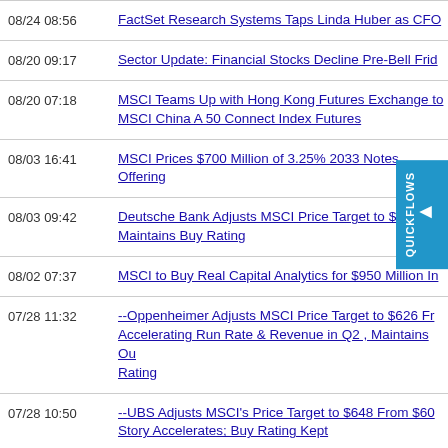08/24 08:56 | FactSet Research Systems Taps Linda Huber as CFO
08/20 09:17 | Sector Update: Financial Stocks Decline Pre-Bell Frid
08/20 07:18 | MSCI Teams Up with Hong Kong Futures Exchange to MSCI China A 50 Connect Index Futures
08/03 16:41 | MSCI Prices $700 Million of 3.25% 2033 Notes Offering
08/03 09:42 | Deutsche Bank Adjusts MSCI Price Target to $ Maintains Buy Rating
08/02 07:37 | MSCI to Buy Real Capital Analytics for $950 Million In
07/28 11:32 | --Oppenheimer Adjusts MSCI Price Target to $626 From Accelerating Run Rate & Revenue in Q2, Maintains Ou Rating
07/28 10:50 | --UBS Adjusts MSCI's Price Target to $648 From $60 Story Accelerates; Buy Rating Kept